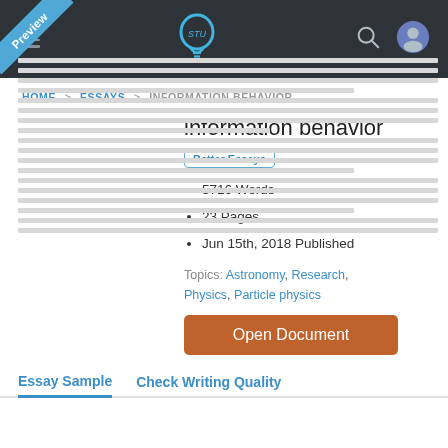Navigation header with hamburger menu, STU logo, search icon, user icon
HOME > ESSAYS > INFORMATION BEHAVIOR
information behavior
Better Essays
5716 Words
23 Pages
Jun 15th, 2018 Published
Topics: Astronomy, Research, Physics, Particle physics
Open Document
Essay Sample   Check Writing Quality